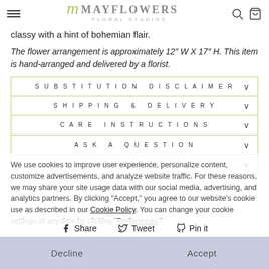MAYFLOWERS FLORAL STUDIOS
classy with a hint of bohemian flair.
The flower arrangement is approximately 12″ W X 17″ H. This item is hand-arranged and delivered by a florist.
SUBSTITUTION DISCLAIMER
SHIPPING & DELIVERY
CARE INSTRUCTIONS
ASK A QUESTION
REVIEWS
We use cookies to improve user experience, personalize content, customize advertisements, and analyze website traffic. For these reasons, we may share your site usage data with our social media, advertising, and analytics partners. By clicking "Accept," you agree to our website's cookie use as described in our Cookie Policy. You can change your cookie settings at any time by clicking "Preferences."
Share  Tweet  Pin it